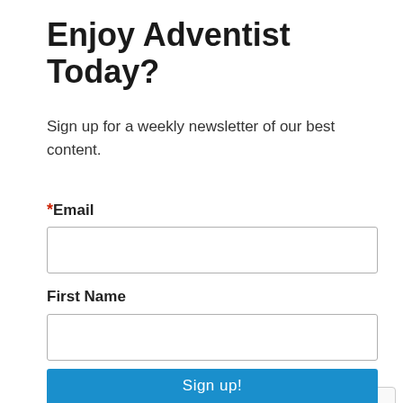Enjoy Adventist Today?
Sign up for a weekly newsletter of our best content.
*Email
First Name
By submitting this form, you are consenting to receive marketing emails from: Adventist Today, PO Box 683, Milton Freewater, OR, 97862, US, http://atoday.org. You can revoke your consent to receive emails at any time by using the SafeUnsubscribe® link, found at the bottom of every email. Emails are serviced by Constant Contact.
Sign up!